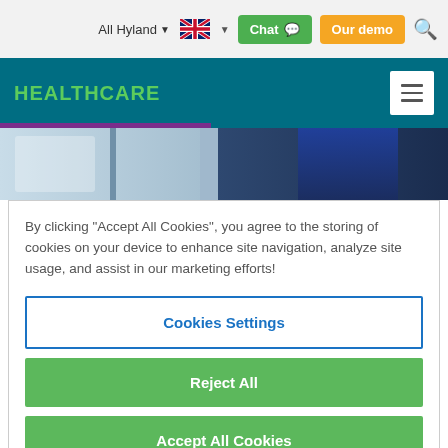All Hyland  [flag]  Chat  Our demo  [search]
HEALTHCARE
[Figure (photo): Hero image of medical equipment and healthcare worker in blue scrubs]
By clicking "Accept All Cookies", you agree to the storing of cookies on your device to enhance site navigation, analyze site usage, and assist in our marketing efforts!
Cookies Settings
Reject All
Accept All Cookies